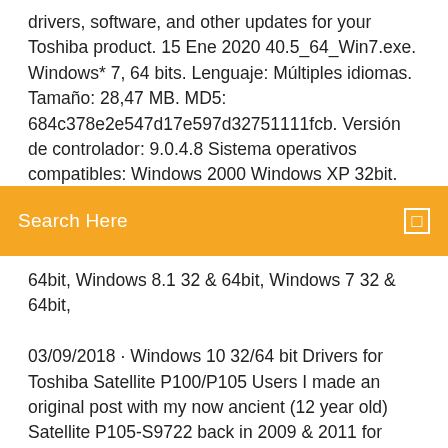drivers, software, and other updates for your Toshiba product. 15 Ene 2020 40.5_64_Win7.exe. Windows* 7, 64 bits. Lenguaje: Múltiples idiomas. Tamaño: 28,47 MB. MD5: 684c378e2e547d17e597d32751111fcb. Versión de controlador: 9.0.4.8 Sistema operativos compatibles: Windows 2000 Windows XP 32bit. Modelos compatibles: Qosmio G25-
Search Here
64bit, Windows 8.1 32 & 64bit, Windows 7 32 & 64bit,
03/09/2018 · Windows 10 32/64 bit Drivers for Toshiba Satellite P100/P105 Users I made an original post with my now ancient (12 year old) Satellite P105-S9722 back in 2009 & 2011 for Windows 7 64-bit drivers. I also made a post for Windows 8 & 8.1 drivers. DRIVER TOSHIBA SATELLITE M840 WINDOWS 7/8 ... Download Driver Laptop Toshiba Satellite M840 untuk Windows 7 32/64 Bit dan Windows 8 64 Bit, Free Download Toshiba Laptop Drivers, Toshiba Satellite C660 Drivers Windows